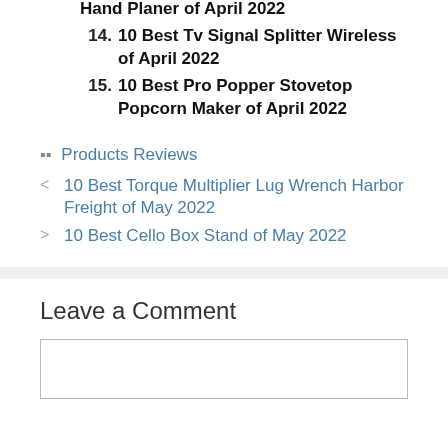Hand Planer of April 2022
14. 10 Best Tv Signal Splitter Wireless of April 2022
15. 10 Best Pro Popper Stovetop Popcorn Maker of April 2022
Products Reviews
< 10 Best Torque Multiplier Lug Wrench Harbor Freight of May 2022
> 10 Best Cello Box Stand of May 2022
Leave a Comment